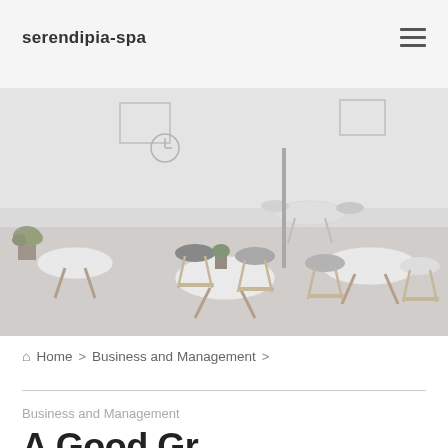serendipia-spa
[Figure (photo): Interior of a modern cafe or coworking space with white Eames-style chairs, round white tables, a potted plant, wall clock, framed art, and bright natural light. The image has a light gray/faded overlay.]
Home > Business and Management >
Business and Management